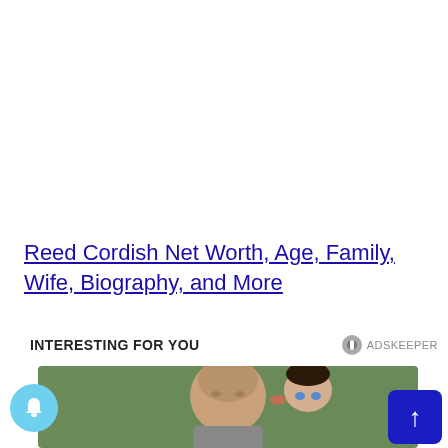Reed Cordish Net Worth, Age, Family, Wife, Biography, and More
INTERESTING FOR YOU
[Figure (photo): A man kissing a baby on the cheek, both against a green background, used as an advertisement thumbnail.]